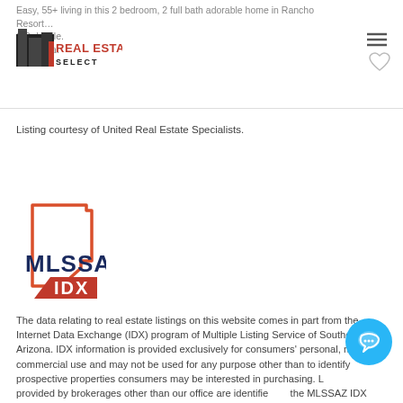Easy, 55+ living in this 2 bedroom, 2 full bath adorable home in Rancho Resort... 1 Del Valle. Sahuarita.
[Figure (logo): Real Estate Select logo with building silhouette and red/black text]
Listing courtesy of United Real Estate Specialists.
[Figure (logo): MLSSAZ IDX logo — outline of Arizona state in orange/red, bold dark blue MLSSAZ text, red IDX text below]
The data relating to real estate listings on this website comes in part from the Internet Data Exchange (IDX) program of Multiple Listing Service of Southern Arizona. IDX information is provided exclusively for consumers' personal, non-commercial use and may not be used for any purpose other than to identify prospective properties consumers may be interested in purchasing. Listings provided by brokerages other than our office are identified by the MLSSAZ IDX Logo. All Information Is Deemed Reliable But Is Not Guaranteed Accurate. Listing information Copyright 2022 MLS of